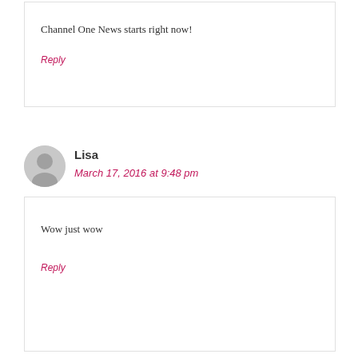Channel One News starts right now!
Reply
Lisa
March 17, 2016 at 9:48 pm
Wow just wow
Reply